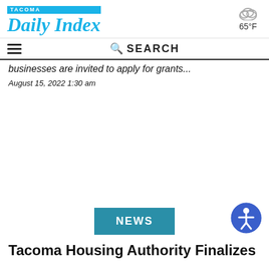TACOMA Daily Index
65°F
SEARCH
Businesses are invited to apply for grants...
August 15, 2022 1:30 am
NEWS
Tacoma Housing Authority Finalizes